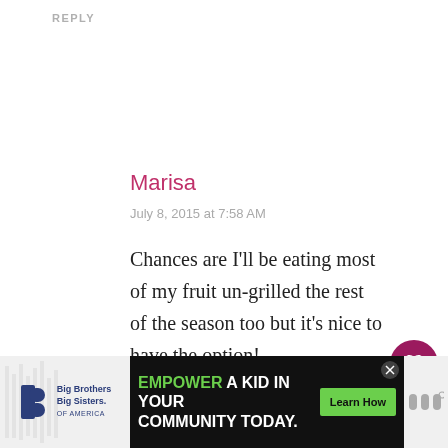REPLY
Marisa
July 8, 2015 at 7:58 AM
Chances are I'll be eating most of my fruit un-grilled the rest of the season too but it's nice to have the option!
REPLY
3.1K
[Figure (screenshot): Advertisement banner: Big Brothers Big Sisters logo on left, black background ad reading EMPOWER A KID IN YOUR COMMUNITY TODAY with green Learn How button and X close button]